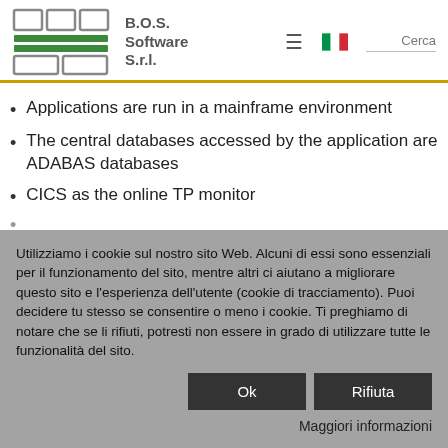B.O.S. Software S.r.l.
Applications are run in a mainframe environment
The central databases accessed by the application are ADABAS databases
CICS as the online TP monitor
Utilizziamo i cookie sul nostro sito Web. Alcuni di essi sono essenziali per il funzionamento del sito, mentre altri ci aiutano a migliorare questo sito e l'esperienza dell'utente (cookie di tracciamento). Puoi decidere tu stesso se consentire o meno i cookie. Ti preghiamo di notare che se li rifiuti, potresti non essere in grado di utilizzare tutte le funzionalità del sito.
Ok | Rifiuta
Maggiori informazioni